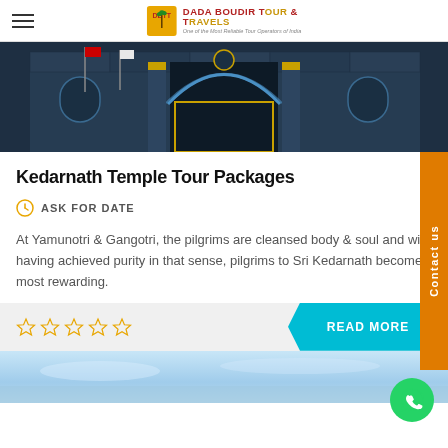DADA BOUDIR TOUR & TRAVELS — One of the Most Reliable Tour Operators of India
[Figure (photo): Dark blue-toned photo of Kedarnath temple entrance with ornate arch, flags, and golden decorative elements]
Kedarnath Temple Tour Packages
ASK FOR DATE
At Yamunotri & Gangotri, the pilgrims are cleansed body & soul and with having achieved purity in that sense, pilgrims to Sri Kedarnath becomes most rewarding.
Contact us
READ MORE
[Figure (photo): Light blue sky/water scene at the bottom of the page]